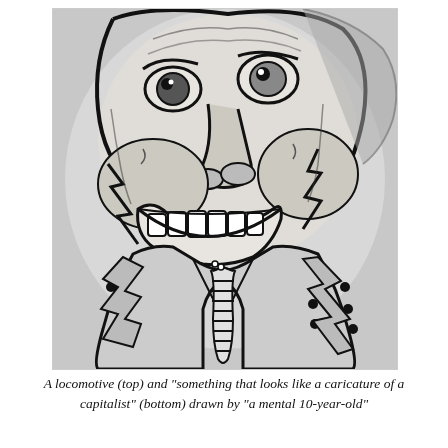[Figure (illustration): A black and white hand-drawn caricature illustration showing a grotesque face with large exaggerated teeth, bulging features, wearing a suit with a striped tie. The figure appears cartoonish and distorted, resembling a caricature of a capitalist. The drawing uses heavy black ink lines with dotted and patterned texturing throughout.]
A locomotive (top) and "something that looks like a caricature of a capitalist" (bottom) drawn by "a mental 10-year-old"